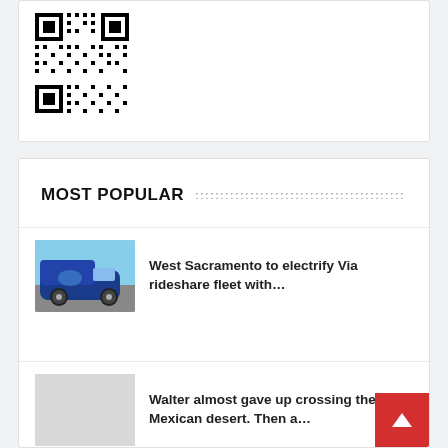[Figure (other): QR code image in white card at top of page]
MOST POPULAR
West Sacramento to electrify Via rideshare fleet with…
[Figure (photo): Photo of a blue Van / rideshare vehicle with branding]
Walter almost gave up crossing the Mexican desert. Then a…
[Figure (photo): Gray placeholder thumbnail]
Rangers enter matchup against the Angels on losing streak
[Figure (photo): Gray placeholder thumbnail]